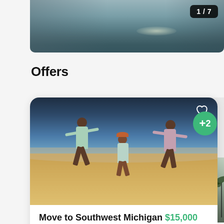[Figure (photo): Top photo strip showing a waterscape/sunset scene with a badge showing '1 / 7']
Offers
[Figure (photo): Offer card for 'Move to Southwest Michigan $15,000' featuring three children running on a beach, with a heart/favorite button. Shows Loan Payment $10,000 and If a child is placed into a $5,000 line items. A partial second card is visible to the right with a green '+2' badge.]